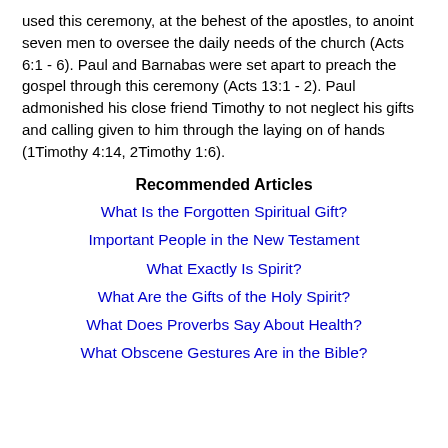used this ceremony, at the behest of the apostles, to anoint seven men to oversee the daily needs of the church (Acts 6:1 - 6). Paul and Barnabas were set apart to preach the gospel through this ceremony (Acts 13:1 - 2). Paul admonished his close friend Timothy to not neglect his gifts and calling given to him through the laying on of hands (1Timothy 4:14, 2Timothy 1:6).
Recommended Articles
What Is the Forgotten Spiritual Gift?
Important People in the New Testament
What Exactly Is Spirit?
What Are the Gifts of the Holy Spirit?
What Does Proverbs Say About Health?
What Obscene Gestures Are in the Bible?